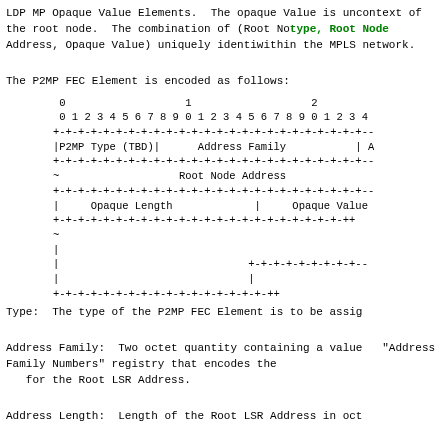LDP MP Opaque Value Elements.  The opaque Value is unique in the context of the root node.  The combination of (Root Node type, Root Node Address, Opaque Value) uniquely identifies within the MPLS network.
The P2MP FEC Element is encoded as follows:
[Figure (schematic): Bit field diagram for P2MP FEC Element encoding showing fields: P2MP Type (TBD), Address Family, Root Node Address, Opaque Length, Opaque Value with bit position headers 0, 1, 2]
Type:  The type of the P2MP FEC Element is to be assigned
Address Family:  Two octet quantity containing a value from the "Address Family Numbers" registry that encodes the for the Root LSR Address.
Address Length:  Length of the Root LSR Address in octets